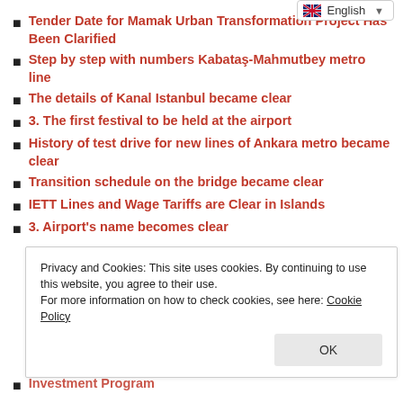Tender Date for Mamak Urban Transformation Project Has Been Clarified
Step by step with numbers Kabataş-Mahmutbey metro line
The details of Kanal Istanbul became clear
3. The first festival to be held at the airport
History of test drive for new lines of Ankara metro became clear
Transition schedule on the bridge became clear
IETT Lines and Wage Tariffs are Clear in Islands
3. Airport's name becomes clear
Privacy and Cookies: This site uses cookies. By continuing to use this website, you agree to their use. For more information on how to check cookies, see here: Cookie Policy
Investment Program